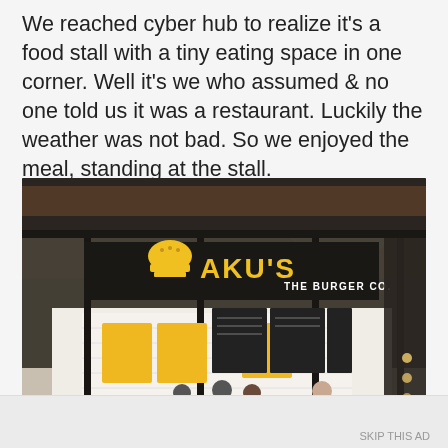We reached cyber hub to realize it's a food stall with a tiny eating space in one corner. Well it's we who assumed & no one told us it was a restaurant. Luckily the weather was not bad. So we enjoyed the meal, standing at the stall.
[Figure (photo): Photo of a food stall called AKU'S THE BURGER CO. inside a mall or food court. The stall has a black metal frame structure with yellow and black signage. There is a neon-style burger logo and the stall name AKU'S THE BURGER CO. lit up in yellow/white lights. Below are menu boards with yellow cabinetry and people standing at the counter ordering. A close button (X) is visible in the bottom right of the image.]
Advertisements